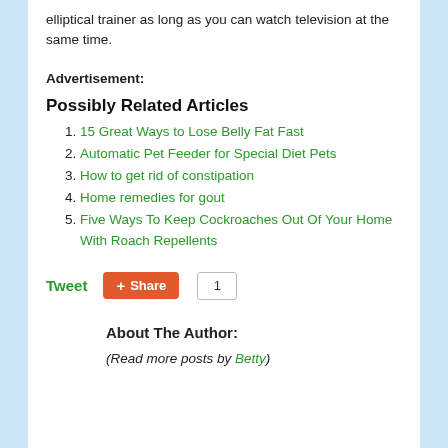elliptical trainer as long as you can watch television at the same time.
Advertisement:
Possibly Related Articles
15 Great Ways to Lose Belly Fat Fast
Automatic Pet Feeder for Special Diet Pets
How to get rid of constipation
Home remedies for gout
Five Ways To Keep Cockroaches Out Of Your Home With Roach Repellents
Tweet   Share  1
About The Author:
(Read more posts by Betty)